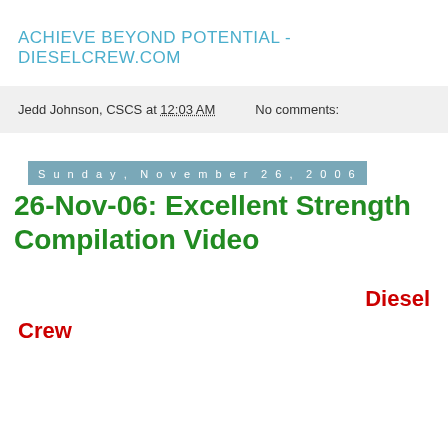ACHIEVE BEYOND POTENTIAL - DIESELCREW.COM
Jedd Johnson, CSCS at 12:03 AM    No comments:
Sunday, November 26, 2006
26-Nov-06: Excellent Strength Compilation Video
Diesel Crew